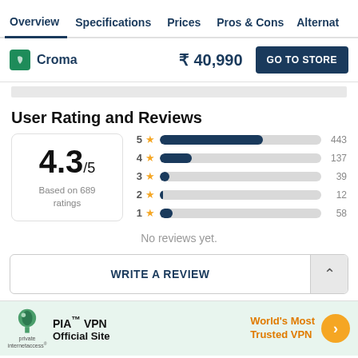Overview  Specifications  Prices  Pros & Cons  Alternat
Croma  ₹ 40,990  GO TO STORE
User Rating and Reviews
[Figure (bar-chart): User Rating Distribution]
4.3/5
Based on 689 ratings
No reviews yet.
WRITE A REVIEW
[Figure (infographic): PIA VPN advertisement banner: private internetaccess logo, PIA™ VPN Official Site, World's Most Trusted VPN, orange arrow button]